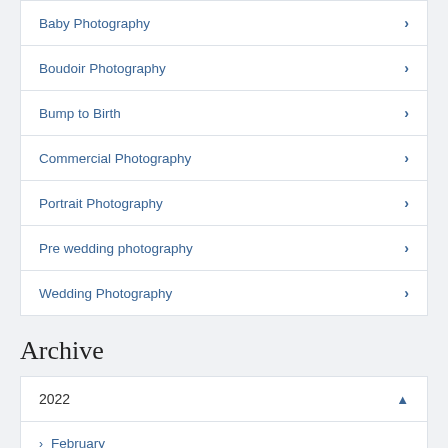Baby Photography
Boudoir Photography
Bump to Birth
Commercial Photography
Portrait Photography
Pre wedding photography
Wedding Photography
Archive
2022
February